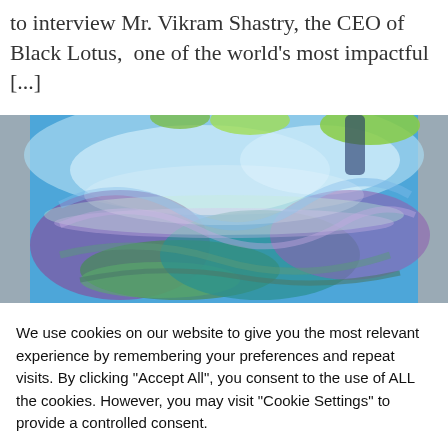to interview Mr. Vikram Shastry, the CEO of Black Lotus, one of the world's most impactful [...]
[Figure (photo): Colorful abstract swirling art image with blue, green, purple and teal colors, showing a Van Gogh-like swirling pattern. Displayed as a horizontal strip across the page.]
We use cookies on our website to give you the most relevant experience by remembering your preferences and repeat visits. By clicking "Accept All", you consent to the use of ALL the cookies. However, you may visit "Cookie Settings" to provide a controlled consent.
Cookie Settings | Accept All